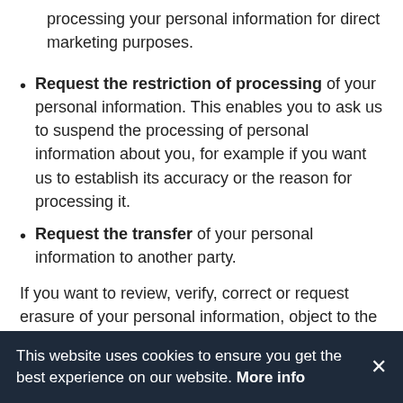processing your personal information for direct marketing purposes.
Request the restriction of processing of your personal information. This enables you to ask us to suspend the processing of personal information about you, for example if you want us to establish its accuracy or the reason for processing it.
Request the transfer of your personal information to another party.
If you want to review, verify, correct or request erasure of your personal information, object to the processing of your personal data, or request that we transfer a copy of your personal information to another party, please contactij-manager@kreuzer.de
This website uses cookies to ensure you get the best experience on our website. More info